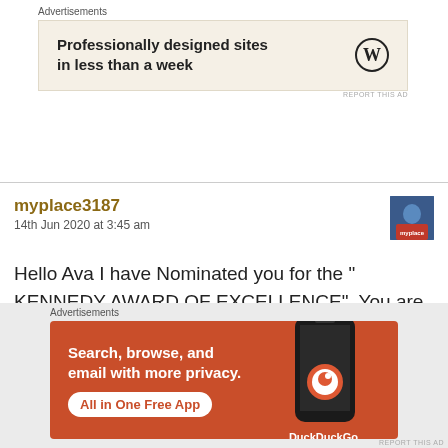Advertisements
[Figure (infographic): WordPress advertisement banner: 'Professionally designed sites in less than a week' with WordPress logo on beige background]
REPORT THIS AD
myplace3187
14th Jun 2020 at 3:45 am
[Figure (photo): User avatar thumbnail showing a person in a blue shirt]
Hello Ava I have Nominated you for the " KENNEDY AWARD OF EXCELLENCE". You are deserving of this Award. It is on my page my friend. I am looking forward to reading your blog post on this Award.
Advertisements
[Figure (infographic): DuckDuckGo advertisement: 'Search, browse, and email with more privacy. All in One Free App' on orange background with phone graphic and DuckDuckGo logo]
REPORT THIS AD